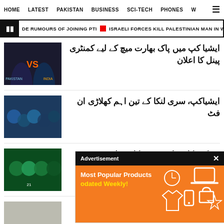HOME   LATEST   PAKISTAN   BUSINESS   SCI-TECH   PHONES   W
DE RUMOURS OF JOINING PTI   ISRAELI FORCES KILL PALESTINIAN MAN IN WEST BA
ایشیا کپ میں پاک بھارت میچ کے لیے کمنٹری پینل کا اعلان
ایشیاکپ، سری لنکا کے تین اہم کھلاڑی ان فٹ
شرکت کا پروانہ، رٹس کا منتظر
ایشیا کپ: کوالیفائرز کی جنگ آج اومان
[Figure (photo): Advertisement overlay showing Most Popular Products Updated Weekly with orange background and shopping icons]